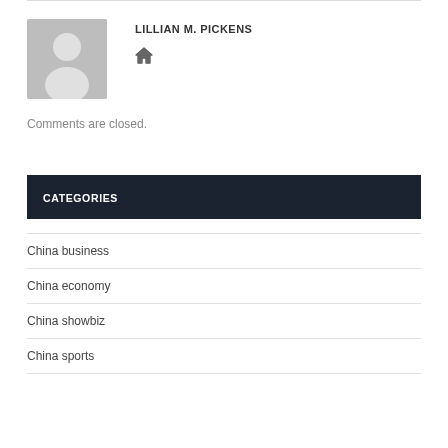[Figure (illustration): Generic author avatar: gray background with white silhouette of a person (head and shoulders)]
LILLIAN M. PICKENS
[Figure (illustration): Home icon (house symbol)]
Comments are closed.
CATEGORIES
China business
China economy
China showbiz
China sports